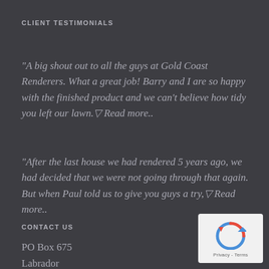CLIENT TESTIMONIALS
"A big shout out to all the guys at Gold Coast Renderers. What a great job! Barry and I are so happy with the finished product and we can't believe how tidy you left our lawn." Read more..
"After the last house we had rendered 5 years ago, we had decided that we were not going through that again. But when Paul told us to give you guys a try," Read more..
CONTACT US
PO Box 675
Labrador
[Figure (logo): reCAPTCHA badge with recycling-arrow logo and Privacy - Terms text]